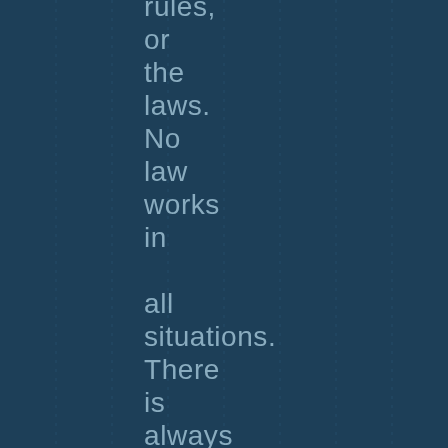rules, or the laws. No law works in all situations. There is always an "except" or a "but." And